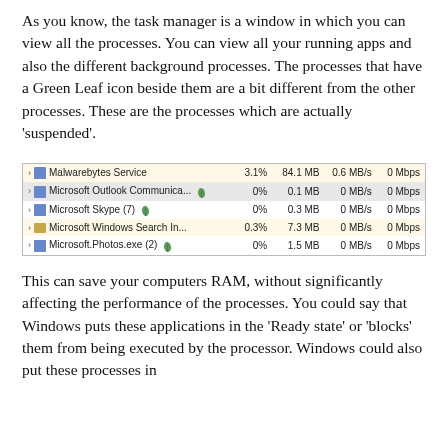As you know, the task manager is a window in which you can view all the processes. You can view all your running apps and also the different background processes. The processes that have a Green Leaf icon beside them are a bit different from the other processes. These are the processes which are actually 'suspended'.
[Figure (screenshot): Task Manager screenshot showing processes: Malwarebytes Service (3.1%, 84.1 MB, 0.6 MB/s, 0 Mbps), Microsoft Outlook Communica... with leaf icon (0%, 0.1 MB, 0 MB/s, 0 Mbps), Microsoft Skype (7) with leaf icon (0%, 0.3 MB, 0 MB/s, 0 Mbps), Microsoft Windows Search In... (0.3%, 7.3 MB, 0 MB/s, 0 Mbps), Microsoft.Photos.exe (2) with leaf icon (0%, 1.5 MB, 0 MB/s, 0 Mbps). Some rows have yellow background.]
This can save your computers RAM, without significantly affecting the performance of the processes. You could say that Windows puts these applications in the 'Ready state' or 'blocks' them from being executed by the processor. Windows could also put these processes in...